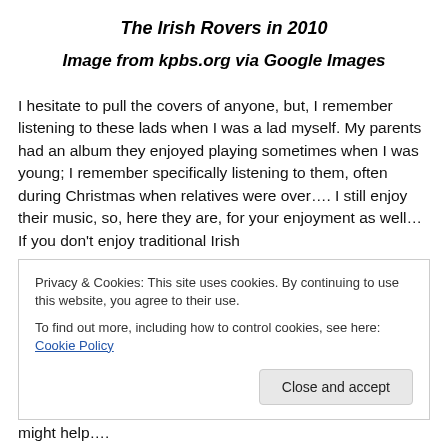The Irish Rovers in 2010
Image from kpbs.org via Google Images
I hesitate to pull the covers of anyone, but, I remember listening to these lads when I was a lad myself. My parents had an album they enjoyed playing sometimes when I was young; I remember specifically listening to them, often during Christmas when relatives were over…. I still enjoy their music, so, here they are, for your enjoyment as well… If you don't enjoy traditional Irish
Privacy & Cookies: This site uses cookies. By continuing to use this website, you agree to their use.
To find out more, including how to control cookies, see here: Cookie Policy
might help….